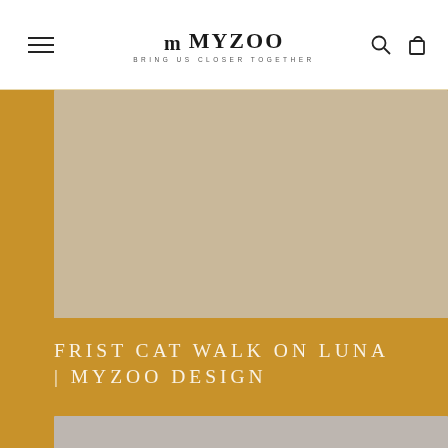MYZOO — BRING US CLOSER TOGETHER
[Figure (photo): Tan/beige colored rectangular image placeholder (cat walk product photo), top portion]
FRIST CAT WALK ON LUNA | MYZOO DESIGN
[Figure (photo): Gray/silver colored rectangular image placeholder (cat walk product photo), bottom portion]